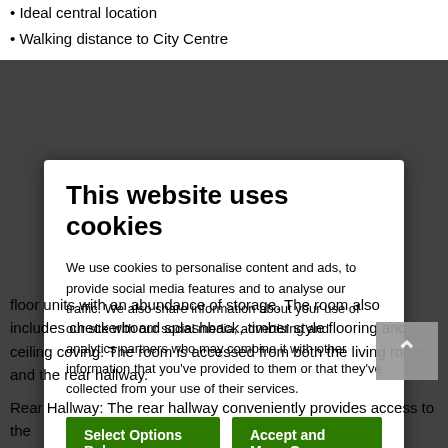• Ideal central location
• Walking distance to City Centre
[Figure (screenshot): Cookie consent modal overlay on a real estate website. Modal contains title 'This website uses cookies', explanatory text, two green buttons ('Select Options Below' and 'Accept and Move On'), and cookie category checkboxes (Necessary checked, Preferences, Statistics, Marketing unchecked) with a 'Show details' dropdown.]
floor units with an abundance of storage. The room also includes checkerboard splashback, timber style flooring and ceiling coving. The room is accessed from both the living room and the rear hallway.
Rear Hallway: The rear hallway conveniently provides access to the